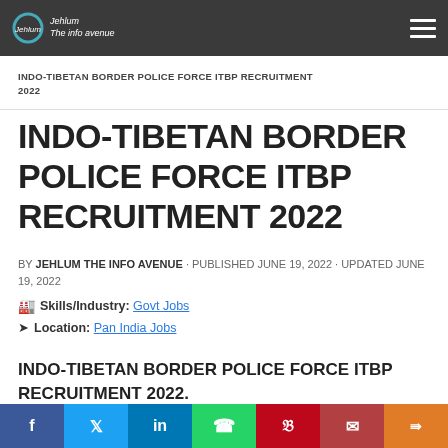Indo-Tibetan Border Police Force ITBP Recruitment 2022 - Navigation header with logo and hamburger menu
INDO-TIBETAN BORDER POLICE FORCE ITBP RECRUITMENT 2022
INDO-TIBETAN BORDER POLICE FORCE ITBP RECRUITMENT 2022
BY JEHLUM THE INFO AVENUE · PUBLISHED JUNE 19, 2022 · UPDATED JUNE 19, 2022
Skills/Industry: Govt Jobs
Location: Pan India Jobs
INDO-TIBETAN BORDER POLICE FORCE ITBP RECRUITMENT 2022.